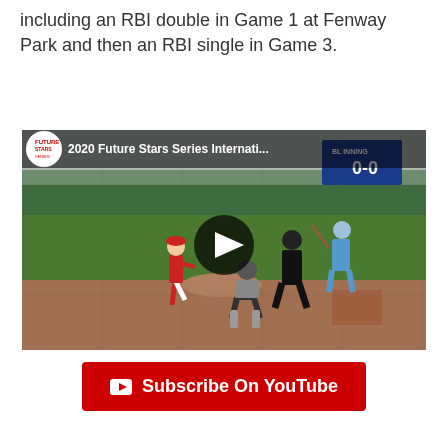including an RBI double in Game 1 at Fenway Park and then an RBI single in Game 3.
[Figure (screenshot): YouTube video thumbnail showing a baseball game scene with pitcher, catcher, batter and umpire. Title reads '2020 Future Stars Series Internati...' with a score display showing 0-0.]
Subscribe On YouTube